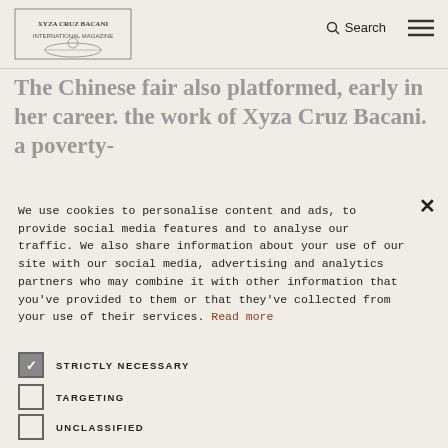Search [menu icon]
understand what he is getting at. VicPhotoMan's was
work shown and s
The Chinese fair also platformed, early in her career. the work of Xyza Cruz Bacani. a poverty-
We use cookies to personalise content and ads, to provide social media features and to analyse our traffic. We also share information about your use of our site with our social media, advertising and analytics partners who may combine it with other information that you've provided to them or that they've collected from your use of their services. Read more
STRICTLY NECESSARY
TARGETING
UNCLASSIFIED
ACCEPT ALL
DECLINE ALL
SHOW DETAILS